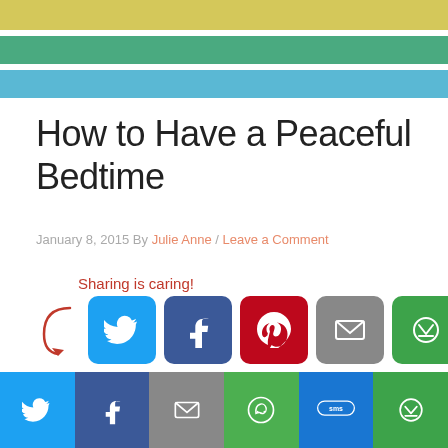How to Have a Peaceful Bedtime
January 8, 2015 By Julie Anne / Leave a Comment
Sharing is caring!
[Figure (infographic): Social share buttons: Twitter, Facebook, Pinterest, Email, More]
Social share bar: Twitter, Facebook, Email, WhatsApp, SMS, More